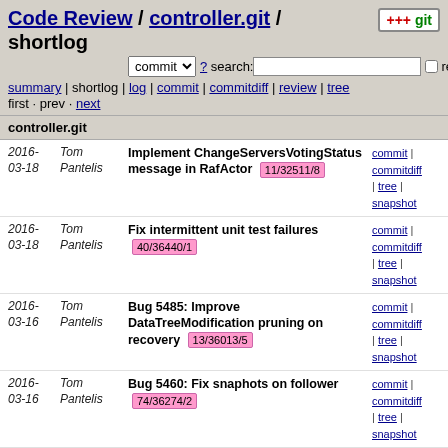Code Review / controller.git / shortlog
commit ? search: re
summary | shortlog | log | commit | commitdiff | review | tree
first · prev · next
controller.git
| Date | Author | Message | Links |
| --- | --- | --- | --- |
| 2016-03-18 | Tom Pantelis | Implement ChangeServersVotingStatus message in RafActor 11/32511/8 | commit | commitdiff | tree | snapshot |
| 2016-03-18 | Tom Pantelis | Fix intermittent unit test failures 40/36440/1 | commit | commitdiff | tree | snapshot |
| 2016-03-16 | Tom Pantelis | Bug 5485: Improve DataTreeModification pruning on recovery 13/36013/5 | commit | commitdiff | tree | snapshot |
| 2016-03-16 | Tom Pantelis | Bug 5460: Fix snaphots on follower 74/36274/2 | commit | commitdiff | tree | snapshot |
| 2016-03-13 | Tom Pantelis | Convert toaster-it to use mdsal-it 74/36074/9 | commit | commitdiff | tree | snapshot |
| 2016-03-12 | Tom Pantelis | Fix intermittent RaftActorLeadershipTransferCohortTest... 58/36158/2 | commit | commitdiff | tree | snapshot |
| 2016-03-11 | Thanh Ho | Add Maven Site generation data 22/36022/4 | commit | commitdiff | tree | snapshot |